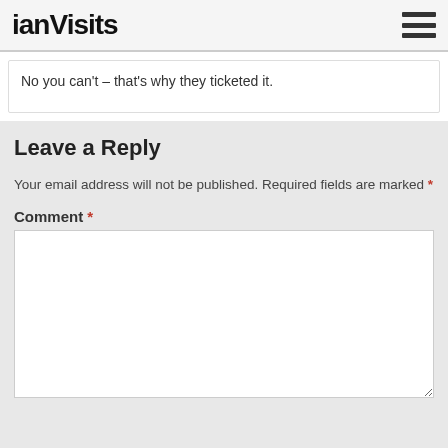ianVisits
No you can't – that's why they ticketed it.
Leave a Reply
Your email address will not be published. Required fields are marked *
Comment *